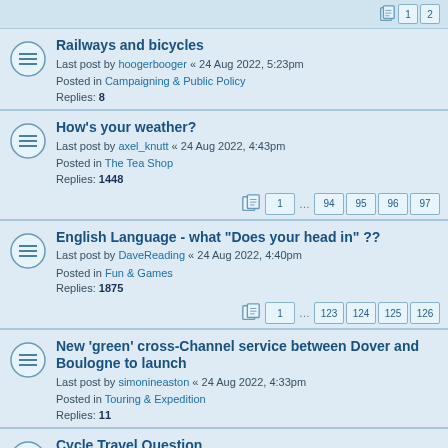Railways and bicycles
Last post by hoogerbooger « 24 Aug 2022, 5:23pm
Posted in Campaigning & Public Policy
Replies: 8
How's your weather?
Last post by axel_knutt « 24 Aug 2022, 4:43pm
Posted in The Tea Shop
Replies: 1448
English Language - what "Does your head in" ??
Last post by DaveReading « 24 Aug 2022, 4:40pm
Posted in Fun & Games
Replies: 1875
New 'green' cross-Channel service between Dover and Boulogne to launch
Last post by simonineaston « 24 Aug 2022, 4:33pm
Posted in Touring & Expedition
Replies: 11
Cycle Travel Question
Last post by geocycle « 24 Aug 2022, 4:14pm
Posted in Touring & Expedition
Replies: 1283